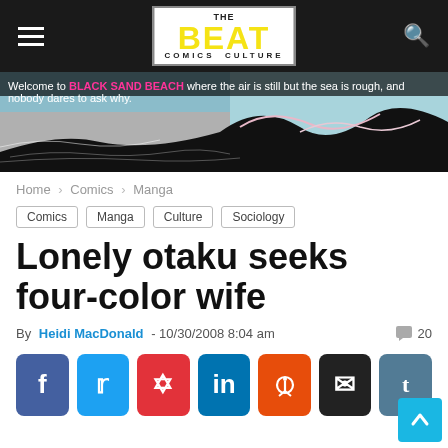THE BEAT COMICS CULTURE
[Figure (illustration): Banner advertisement for Black Sand Beach comic. Black and white illustration of rough sea waves and shoreline. Text: Welcome to BLACK SAND BEACH where the air is still but the sea is rough, and nobody dares to ask why.]
Home > Comics > Manga
Comics
Manga
Culture
Sociology
Lonely otaku seeks four-color wife
By Heidi MacDonald - 10/30/2008 8:04 am  💬 20